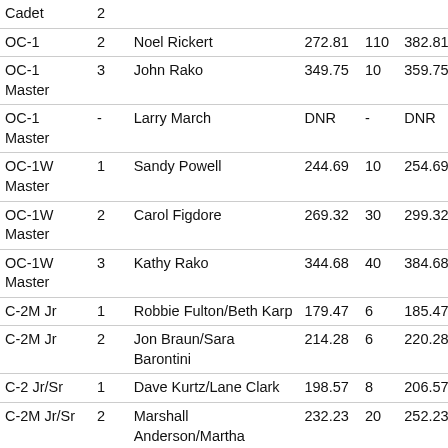| Class | Pl | Name | Score1 | Pts1 | Total1 | Score2 | Pts2 | Total2 |
| --- | --- | --- | --- | --- | --- | --- | --- | --- |
| Cadet | 2 | ... | ... | ... | ... | ... | ... | ... |
| OC-1 | 2 | Noel Rickert | 272.81 | 110 | 382.81 | 283.37 | 70 | 353 |
| OC-1 Master | 3 | John Rako | 349.75 | 10 | 359.75 | 320.72 | 40 | 360 |
| OC-1 Master | - | Larry March | DNR | - | DNR | DNR | - | DN |
| OC-1W Master | 1 | Sandy Powell | 244.69 | 10 | 254.69 | 233.24 | 10 | 243 |
| OC-1W Master | 2 | Carol Figdore | 269.32 | 30 | 299.32 | 296.85 | 0 | 296 |
| OC-1W Master | 3 | Kathy Rako | 344.68 | 40 | 384.68 | 325.64 | 70 | 395 |
| C-2M Jr | 1 | Robbie Fulton/Beth Karp | 179.47 | 6 | 185.47 | 170.35 | 4 | 174 |
| C-2M Jr | 2 | Jon Braun/Sara Barontini | 214.28 | 6 | 220.28 | 202.99 | 58 | 260 |
| C-2 Jr/Sr | 1 | Dave Kurtz/Lane Clark | 198.57 | 8 | 206.57 | 193.83 | 2 | 195 |
| C-2M Jr/Sr | 2 | Marshall Anderson/Martha Anderson | 232.23 | 20 | 252.23 | 315.46 | 16 | 331 |
| C-2M | 3 | Dan Phillips/Kathy | DNF | - | DNF | DNR | - | DN |